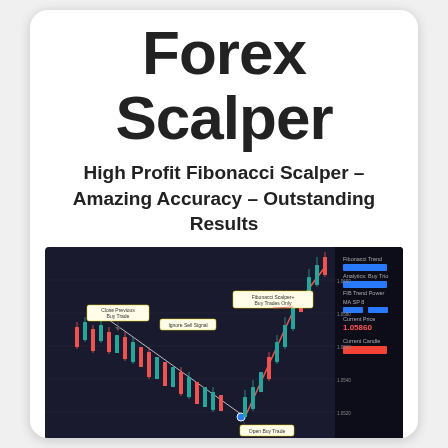Forex Scalper
High Profit Fibonacci Scalper – Amazing Accuracy – Outstanding Results
[Figure (screenshot): Trading chart screenshot showing a dark-background forex chart with candlesticks, red and blue annotations, trend lines, and a settings panel on the right. Labels include 'Close Previous Buy Trade', 'Ignore Sell Signal', 'Open Buy Trade', and 'Fibonacci Scalper+ Buy Trades Only'.]